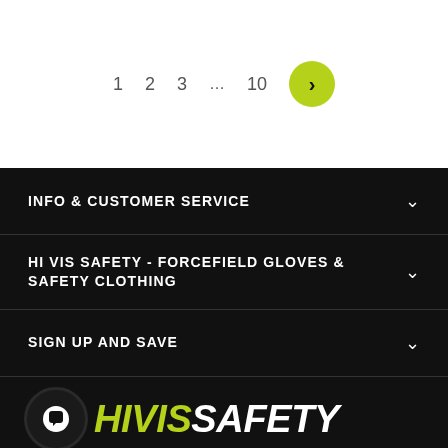1  2  3  ...  10  >
INFO & CUSTOMER SERVICE
HI VIS SAFETY - FORCEFIELD GLOVES & SAFETY CLOTHING
SIGN UP AND SAVE
[Figure (logo): HiVisSafety logo with chat bubble icon. 'HIVIS' in yellow-green and 'SAFETY' in white, bold italic font.]